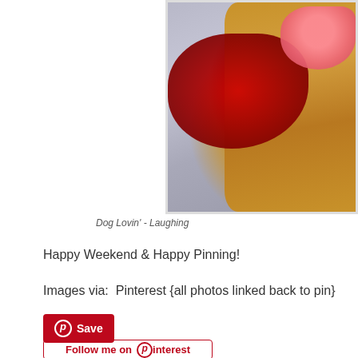[Figure (photo): A golden-furred dog wearing a red velvet outfit or bandana, photographed from close up with tongue visible at the top, against a light tile background.]
Dog Lovin'  - Laughing
Happy Weekend & Happy Pinning!
Images via:  Pinterest {all photos linked back to pin}
[Figure (other): Red Pinterest Save button with Pinterest logo icon]
[Figure (other): Follow me on Pinterest button outline]